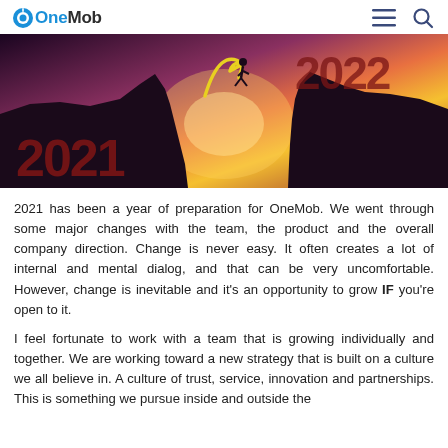OneMob
[Figure (photo): Hero image showing 2021 on left cliff and 2022 on right cliff with a person jumping across at sunset, silhouetted against a colorful sky]
2021 has been a year of preparation for OneMob. We went through some major changes with the team, the product and the overall company direction. Change is never easy. It often creates a lot of internal and mental dialog, and that can be very uncomfortable. However, change is inevitable and it's an opportunity to grow IF you're open to it.
I feel fortunate to work with a team that is growing individually and together. We are working toward a new strategy that is built on a culture we all believe in. A culture of trust, service, innovation and partnerships. This is something we pursue inside and outside the